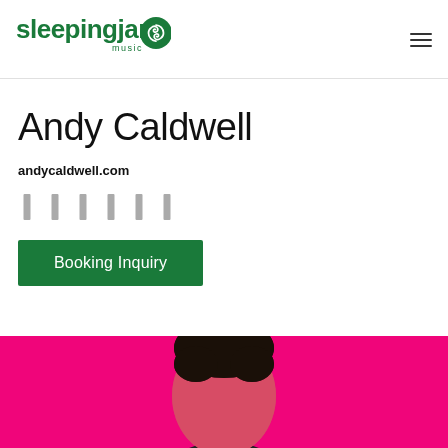[Figure (logo): Sleeping Giant Music logo with green text and circular icon]
Andy Caldwell
andycaldwell.com
[Figure (other): Row of six social media icon placeholders]
Booking Inquiry
[Figure (photo): Photo of Andy Caldwell on hot pink/magenta background, showing top of head]